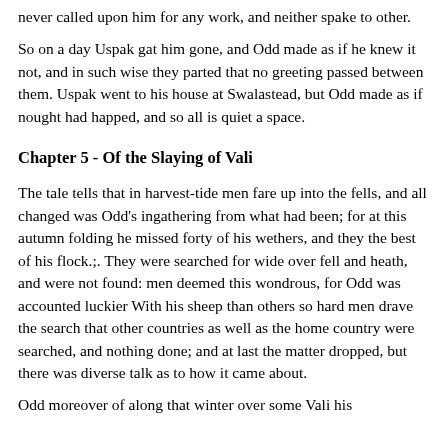never called upon him for any work, and neither spake to other.
So on a day Uspak gat him gone, and Odd made as if he knew it not, and in such wise they parted that no greeting passed between them. Uspak went to his house at Swalastead, but Odd made as if nought had happed, and so all is quiet a space.
Chapter 5 - Of the Slaying of Vali
The tale tells that in harvest-tide men fare up into the fells, and all changed was Odd's ingathering from what had been; for at this autumn folding he missed forty of his wethers, and they the best of his flock.;. They were searched for wide over fell and heath, and were not found: men deemed this wondrous, for Odd was accounted luckier With his sheep than others so hard men drave the search that other countries as well as the home country were searched, and nothing done; and at last the matter dropped, but there was diverse talk as to how it came about.
Odd moreover of along that winter over some Vali his...